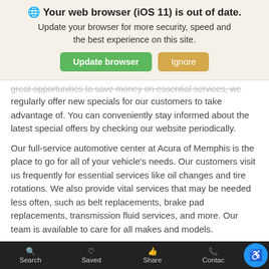🌐 Your web browser (iOS 11) is out of date. Update your browser for more security, speed and the best experience on this site. [Update browser] [Ignore]
great opportunities to save money on essential services, we regularly offer new specials for our customers to take advantage of. You can conveniently stay informed about the latest special offers by checking our website periodically.
Our full-service automotive center at Acura of Memphis is the place to go for all of your vehicle's needs. Our customers visit us frequently for essential services like oil changes and tire rotations. We also provide vital services that may be needed less often, such as belt replacements, brake pad replacements, transmission fluid services, and more. Our team is available to care for all makes and models.
Save Money on Acura of Memphis Today
Search | Saved | Share | Contact